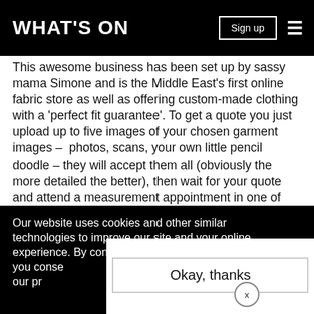WHAT'S ON
This awesome business has been set up by sassy mama Simone and is the Middle East's first online fabric store as well as offering custom-made clothing with a 'perfect fit guarantee'. To get a quote you just upload up to five images of your chosen garment images – photos, scans, your own little pencil doodle – they will accept them all (obviously the more detailed the better), then wait for your quote and attend a measurement appointment in one of three locations. The website lets you browse fabrics by use or by content (silk, cotton etc). and even has a range of patterns if
Our website uses cookies and other similar technologies to improve our site and your online experience. By continuing to use our website you conse our pr